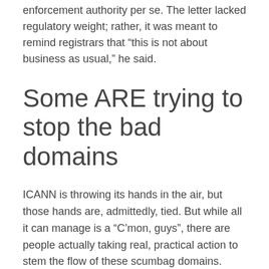enforcement authority per se. The letter lacked regulatory weight; rather, it was meant to remind registrars that “this is not about business as usual,” he said.
Some ARE trying to stop the bad domains
ICANN is throwing its hands in the air, but those hands are, admittedly, tied. But while all it can manage is a “C’mon, guys”, there are people actually taking real, practical action to stem the flow of these scumbag domains.
One such is the COVID-19 Cyber Threat Coalition (CTC): a global volunteer community of individuals and